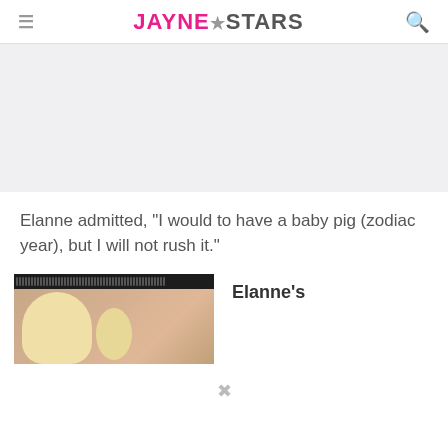JAYNE★STARS
[Figure (other): Advertisement / banner placeholder area (light gray background)]
Elanne admitted, “I would to have a baby pig (zodiac year), but I will not rush it.”
[Figure (photo): Photo of a blonde woman (Elanne) seen through a film strip or window frame with dark perforated strip along the top]
Elanne’s